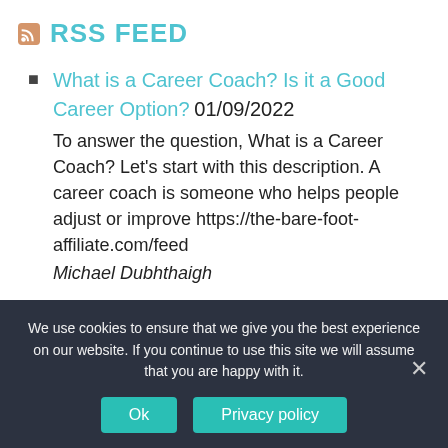RSS FEED
What is a Career Coach? Is it a Good Career Option? 01/09/2022 To answer the question, What is a Career Coach? Let's start with this description. A career coach is someone who helps people adjust or improve https://the-bare-foot-affiliate.com/feed Michael Dubhthaigh
We use cookies to ensure that we give you the best experience on our website. If you continue to use this site we will assume that you are happy with it.
Ok   Privacy policy